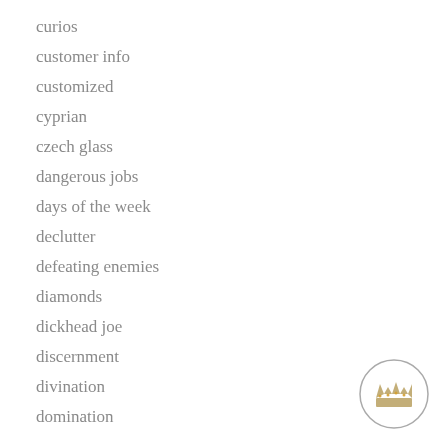curios
customer info
customized
cyprian
czech glass
dangerous jobs
days of the week
declutter
defeating enemies
diamonds
dickhead joe
discernment
divination
domination
[Figure (illustration): A small circular emblem containing a decorative crown illustration, positioned in the bottom-right corner of the page.]